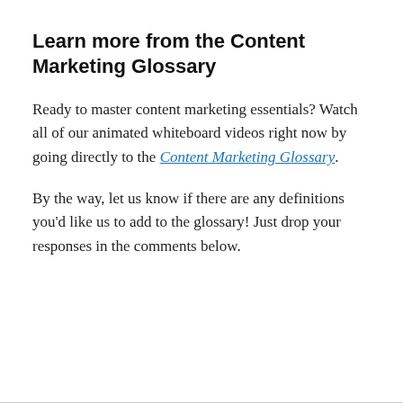Learn more from the Content Marketing Glossary
Ready to master content marketing essentials? Watch all of our animated whiteboard videos right now by going directly to the Content Marketing Glossary.
By the way, let us know if there are any definitions you'd like us to add to the glossary! Just drop your responses in the comments below.